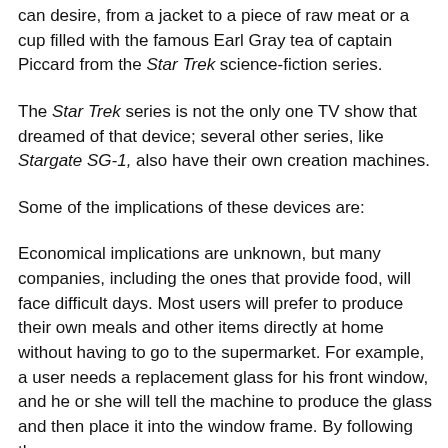can desire, from a jacket to a piece of raw meat or a cup filled with the famous Earl Gray tea of captain Piccard from the Star Trek science-fiction series.
The Star Trek series is not the only one TV show that dreamed of that device; several other series, like Stargate SG-1, also have their own creation machines.
Some of the implications of these devices are:
Economical implications are unknown, but many companies, including the ones that provide food, will face difficult days. Most users will prefer to produce their own meals and other items directly at home without having to go to the supermarket. For example, a user needs a replacement glass for his front window, and he or she will tell the machine to produce the glass and then place it into the window frame. By following these